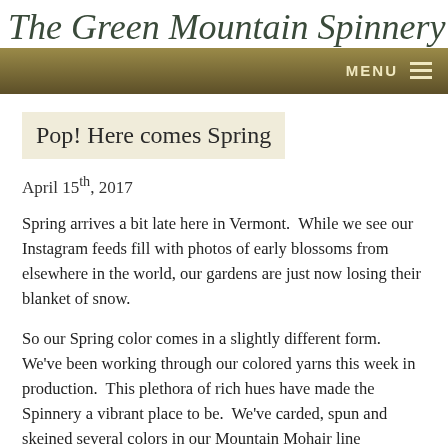The Green Mountain Spinnery
Pop! Here comes Spring
April 15th, 2017
Spring arrives a bit late here in Vermont.  While we see our Instagram feeds fill with photos of early blossoms from elsewhere in the world, our gardens are just now losing their blanket of snow.
So our Spring color comes in a slightly different form.  We've been working through our colored yarns this week in production.  This plethora of rich hues have made the Spinnery a vibrant place to be.  We've carded, spun and skeined several colors in our Mountain Mohair line including: Vincent's Gold, Midnight Blue, Wintergreen, Claret, and Elderberry.